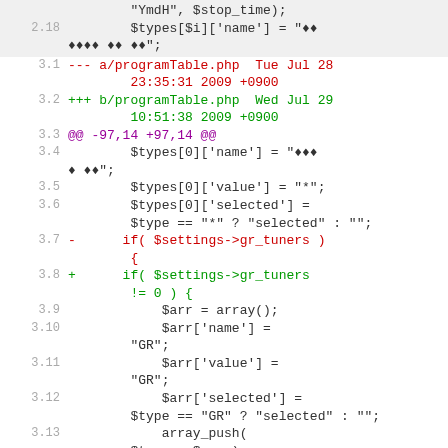2.17   "YmdH", $stop_time);
2.18   $types[$i]['name'] = "[garbled]";
3.1  --- a/programTable.php  Tue Jul 28 23:35:31 2009 +0900
3.2  +++ b/programTable.php  Wed Jul 29 10:51:38 2009 +0900
3.3  @@ -97,14 +97,14 @@
3.4      $types[0]['name'] = "[garbled]";
3.5      $types[0]['value'] = "*";
3.6      $types[0]['selected'] = $type == "*" ? "selected" : "";
3.7  -   if( $settings->gr_tuners ) {
3.8  +   if( $settings->gr_tuners != 0 ) {
3.9           $arr = array();
3.10          $arr['name'] = "GR";
3.11          $arr['value'] = "GR";
3.12          $arr['selected'] = $type == "GR" ? "selected" : "";
3.13          array_push( $types, $arr );
3.14      }
3.15  -   if( $settings->bs_tuners ) {